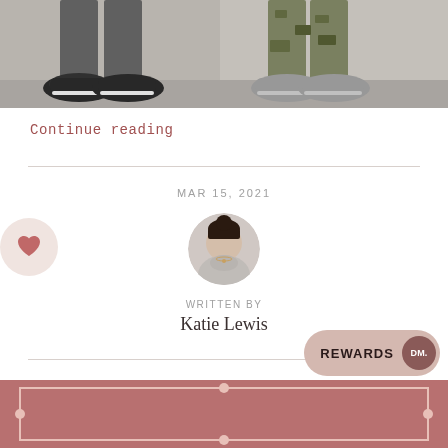[Figure (photo): Partial view of two people's legs and sneakers sitting on steps — one wearing dark Nike sneakers and jeans, one wearing grey sneakers and camouflage pants]
Continue reading
MAR 15, 2021
[Figure (photo): Circular avatar photo of a woman in a light grey top with dark hair pulled back]
WRITTEN BY
Katie Lewis
[Figure (infographic): Rewards button widget in bottom right with text REWARDS and circular DM icon, above a dark rose/mauve banner at the bottom of the page]